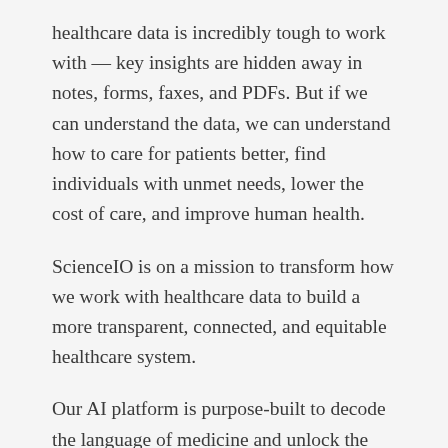healthcare data is incredibly tough to work with — key insights are hidden away in notes, forms, faxes, and PDFs. But if we can understand the data, we can understand how to care for patients better, find individuals with unmet needs, lower the cost of care, and improve human health.
ScienceIO is on a mission to transform how we work with healthcare data to build a more transparent, connected, and equitable healthcare system.
Our AI platform is purpose-built to decode the language of medicine and unlock the full potential of healthcare data. Our real-time APIs transform messy unstructured data to create insights, streamline